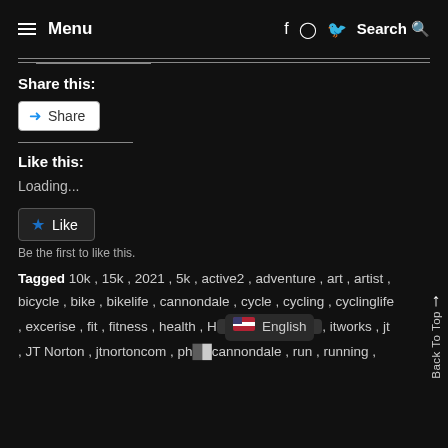≡ Menu   f ⊙ 🐦 Search 🔍
Share this:
[Figure (other): Share button with share icon]
Like this:
Loading...
[Figure (other): Like button with star icon]
Be the first to like this.
Tagged 10k , 15k , 2021 , 5k , active2 , adventure , art , artist , bicycle , bike , bikelife , cannondale , cycle , cycling , cyclinglife , excerise , fit , fitness , health , Ho... , itworks , jt , JT Norton , jtnortoncom , ph... cannondale , run , running ,
[Figure (other): English language selector with US flag overlay]
Back To Top